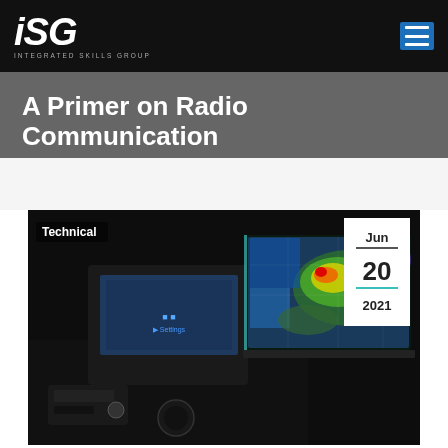ISG INTEGRATED SKILLS GROUP
A Primer on Radio Communication
[Figure (photo): Vehicle interior at night showing a car dashboard with radio equipment and a laptop/tablet screen displaying a weather radar map with colorful storm patterns. A white date box in the upper right shows Jun 20 2021. A 'Technical' label appears in the upper left of the image.]